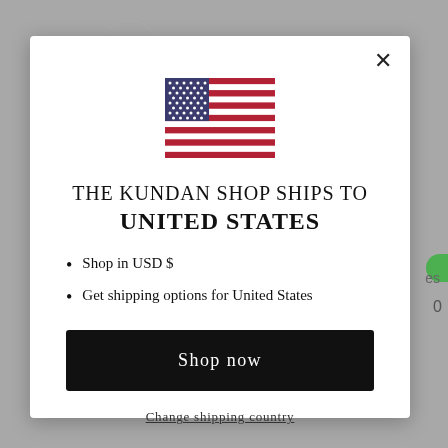[Figure (illustration): US flag SVG illustration]
THE KUNDAN SHOP SHIPS TO
UNITED STATES
Shop in USD $
Get shipping options for United States
Shop now
Change shipping country